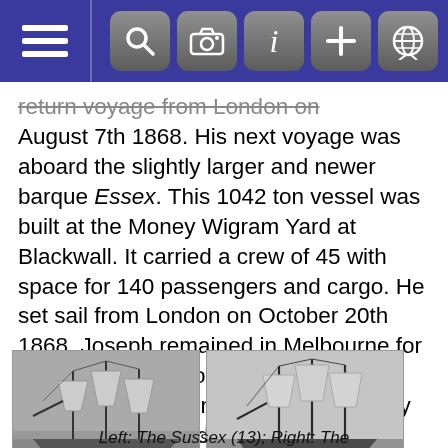Navigation bar with hamburger menu and icons (search, camera, info, plus, globe)
return voyage from London on August 7th 1868. His next voyage was aboard the slightly larger and newer barque Essex. This 1042 ton vessel was built at the Money Wigram Yard at Blackwall. It carried a crew of 45 with space for 140 passengers and cargo. He set sail from London on October 20th 1868. Joseph remained in Melbourne for the next twelve months occupying his time working in furniture and upholstery shops. He returned to England in 1870 aboard the SS Agamemnon, a long distance merchant steamship which predominantly plied the route to the Far East
[Figure (photo): Two black and white historical photographs of sailing ships side by side. Left image shows a multi-masted sailing vessel (The Sussex). Right image shows another multi-masted sailing vessel.]
Left: The Sussex (13); Right: The